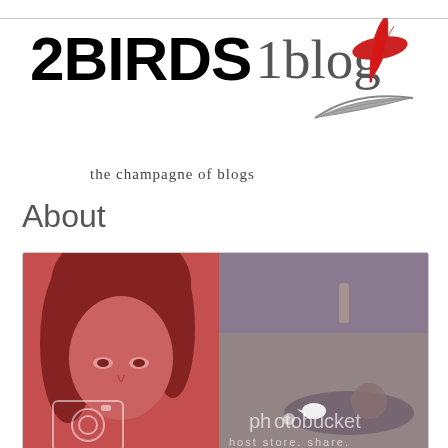[Figure (logo): 2BIRDS 1blog logo with red and grey feathers and tagline 'the champagne of blogs']
About
[Figure (photo): Split photo with a woman's face on a red-tinted left half and a person lying on sand on a grey-tinted right half, with Photobucket watermark overlay]